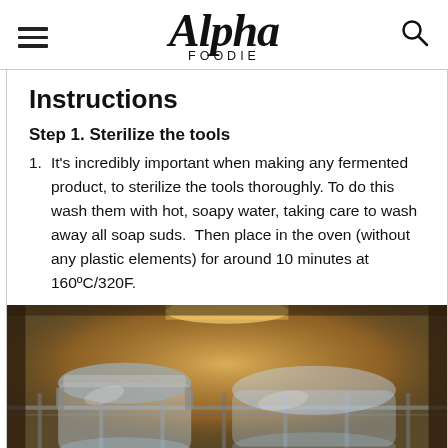Alpha Foodie
Instructions
Step 1. Sterilize the tools
It's incredibly important when making any fermented product, to sterilize the tools thoroughly. To do this wash them with hot, soapy water, taking care to wash away all soap suds.  Then place in the oven (without any plastic elements) for around 10 minutes at 160ºC/320F.
[Figure (photo): Glass jars and lids being sterilized inside an oven, shown with warm oven light illuminating the interior.]